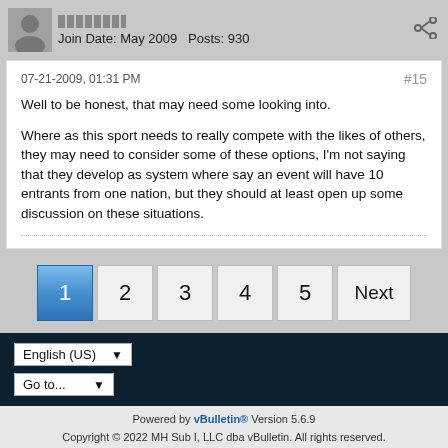Join Date: May 2009   Posts: 930
07-21-2009, 01:31 PM
#15

Well to be honest, that may need some looking into.

Where as this sport needs to really compete with the likes of others, they may need to consider some of these options, I'm not saying that they develop as system where say an event will have 10 entrants from one nation, but they should at least open up some discussion on these situations.
1  2  3  4  5  Next
Powered by vBulletin® Version 5.6.9
Copyright © 2022 MH Sub I, LLC dba vBulletin. All rights reserved.
All times are GMT. This page was generated at 07:10 PM.